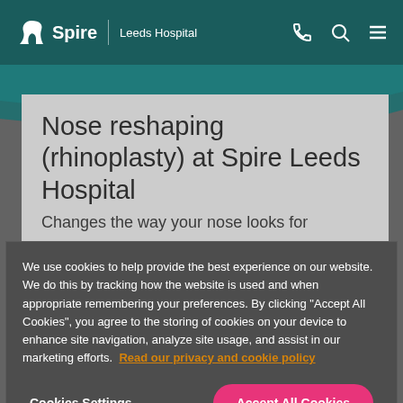Spire | Leeds Hospital
Nose reshaping (rhinoplasty) at Spire Leeds Hospital
Changes the way your nose looks for
We use cookies to help provide the best experience on our website. We do this by tracking how the website is used and when appropriate remembering your preferences. By clicking "Accept All Cookies", you agree to the storing of cookies on your device to enhance site navigation, analyze site usage, and assist in our marketing efforts. Read our privacy and cookie policy
Cookies Settings
Accept All Cookies